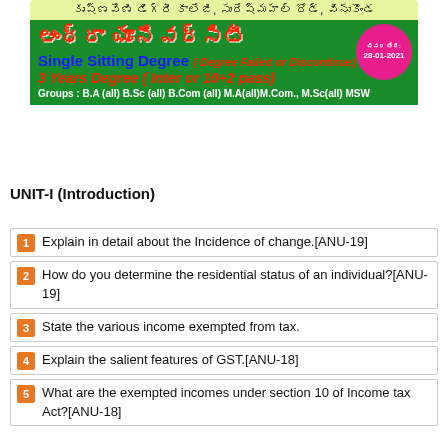[Figure (infographic): Andhra University Single Sitting Degree college advertisement banner in Telugu and English with date 28-01-2021]
UNIT-I (Introduction)
Explain in detail about the Incidence of change.[ANU-19]
How do you determine the residential status of an individual?[ANU-19]
State the various income exempted from tax.
Explain the salient features of  GST.[ANU-18]
What are the exempted incomes under section 10 of Income tax Act?[ANU-18]